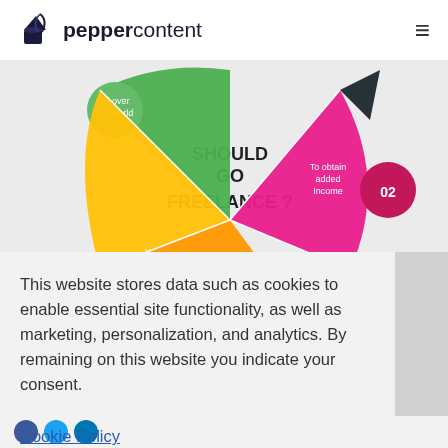peppercontent
[Figure (infographic): A colorful semicircular/pie infographic titled 'SHOULD GO FREELANCE?' with colored segments: green segment labeled 'all over the world', yellow segment labeled 'Working on your term', orange segment labeled 'To be your own Boss', pink/magenta segment labeled 'To obtain added Income' with badge '02'. Partially visible at bottom showing badge '01'.]
This website stores data such as cookies to enable essential site functionality, as well as marketing, personalization, and analytics. By remaining on this website you indicate your consent.
Cookie Policy